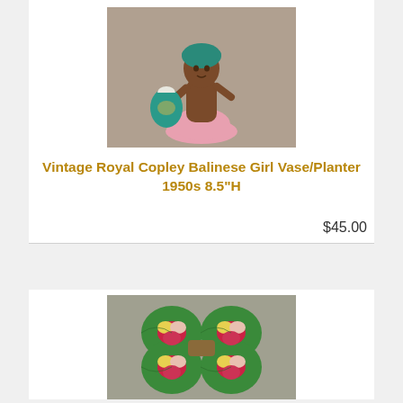[Figure (photo): Photo of a vintage Royal Copley Balinese Girl ceramic vase/planter figurine from the 1950s, approximately 8.5 inches tall. Shows a dark-skinned female figure wearing a teal/green head wrap, holding a teal vase, with pink base.]
Vintage Royal Copley Balinese Girl Vase/Planter 1950s 8.5"H
$45.00
[Figure (photo): Photo of a vintage ceramic dish/tray shaped like a four-leaf clover or flower, decorated with bright red, yellow and green floral/leaf motifs. The tray has four rounded sections with colorful painted flowers.]